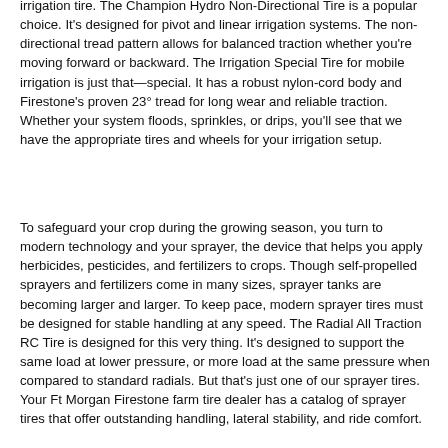irrigation tire. The Champion Hydro Non-Directional Tire is a popular choice. It's designed for pivot and linear irrigation systems. The non-directional tread pattern allows for balanced traction whether you're moving forward or backward. The Irrigation Special Tire for mobile irrigation is just that—special. It has a robust nylon-cord body and Firestone's proven 23° tread for long wear and reliable traction. Whether your system floods, sprinkles, or drips, you'll see that we have the appropriate tires and wheels for your irrigation setup.
To safeguard your crop during the growing season, you turn to modern technology and your sprayer, the device that helps you apply herbicides, pesticides, and fertilizers to crops. Though self-propelled sprayers and fertilizers come in many sizes, sprayer tanks are becoming larger and larger. To keep pace, modern sprayer tires must be designed for stable handling at any speed. The Radial All Traction RC Tire is designed for this very thing. It's designed to support the same load at lower pressure, or more load at the same pressure when compared to standard radials. But that's just one of our sprayer tires. Your Ft Morgan Firestone farm tire dealer has a catalog of sprayer tires that offer outstanding handling, lateral stability, and ride comfort.